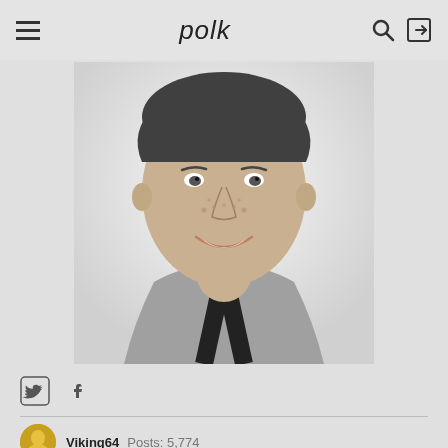polk
[Figure (photo): Black and white portrait photo of a smiling young boy with freckles, wearing a knit sweater/cardigan over a dark shirt, classic vintage school photo style]
[Figure (other): Social sharing icons: Twitter bird icon and Facebook f icon]
Viking64   Posts: 5,774